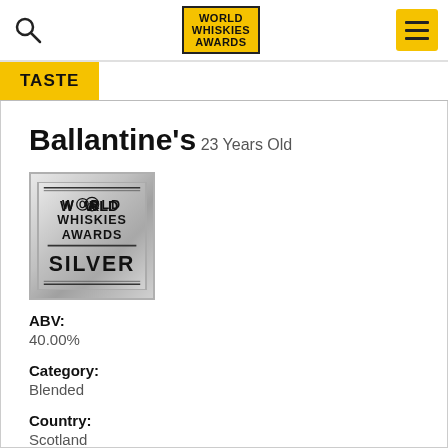World Whiskies Awards
Ballantine's
23 Years Old
[Figure (logo): World Whiskies Awards Silver medal badge with silver gradient background]
ABV: 40.00%
Category: Blended
Country: Scotland
Style: